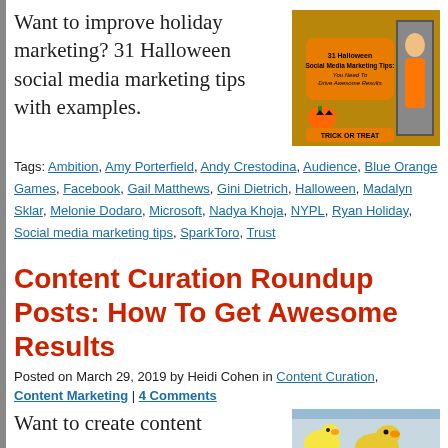Want to improve holiday marketing? 31 Halloween social media marketing tips with examples.
[Figure (photo): Book/article cover image: '31 Halloween Social Media Marketing Tips: You Need To Drive Awesome Results' with Halloween imagery]
Tags: Ambition, Amy Porterfield, Andy Crestodina, Audience, Blue Orange Games, Facebook, Gail Matthews, Gini Dietrich, Halloween, Madalyn Sklar, Melonie Dodaro, Microsoft, Nadya Khoja, NYPL, Ryan Holiday, Social media marketing tips, SparkToro, Trust
Content Curation Roundup Posts: How To Get Awesome Results
Posted on March 29, 2019 by Heidi Cohen in Content Curation, Content Marketing | 4 Comments
Want to create content
[Figure (photo): Colorful image with rubber ducks, related to content curation roundup posts]